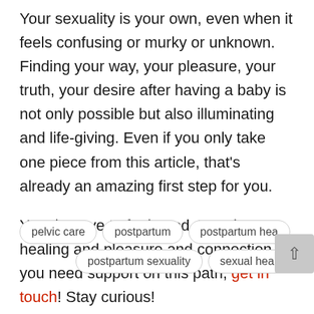Your sexuality is your own, even when it feels confusing or murky or unknown. Finding your way, your pleasure, your truth, your desire after having a baby is not only possible but also illuminating and life-giving. Even if you only take one piece from this article, that's already an amazing first step for you.
You deserve to feel good. You deserve healing and pleasure and connection. If you need support on this path, get in touch! Stay curious!
pelvic care
postpartum
postpartum hea[lth]
postpartum sexuality
sexual health